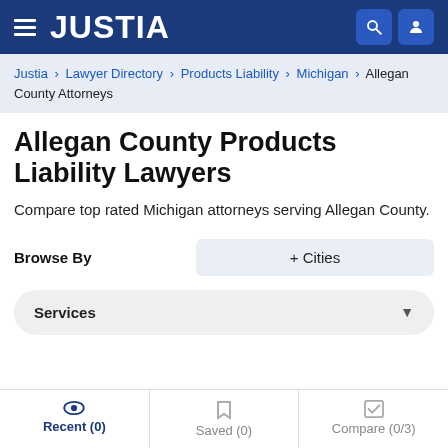JUSTIA
Justia › Lawyer Directory › Products Liability › Michigan › Allegan County Attorneys
Allegan County Products Liability Lawyers
Compare top rated Michigan attorneys serving Allegan County.
Browse By   + Cities
Services
Recent (0)   Saved (0)   Compare (0/3)